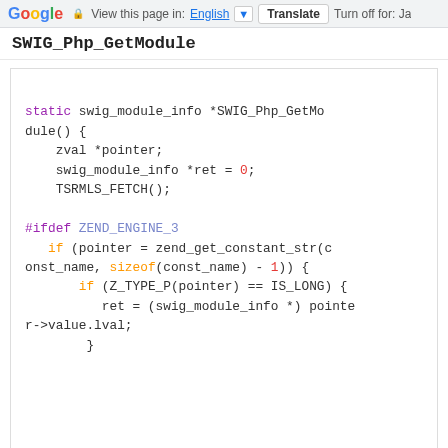Google  View this page in: English [v]  Translate  Turn off for: Ja
SWIG_Php_GetModule
[Figure (screenshot): Code block showing C function SWIG_Php_GetModule with syntax highlighting. Contains: static swig_module_info *SWIG_Php_GetModule() { zval *pointer; swig_module_info *ret = 0; TSRMLS_FETCH(); #ifdef ZEND_ENGINE_3 if (pointer = zend_get_constant_str(const_name, sizeof(const_name) - 1)) { if (Z_TYPE_P(pointer) == IS_LONG) { ret = (swig_module_info *) pointer->value.lval; }]